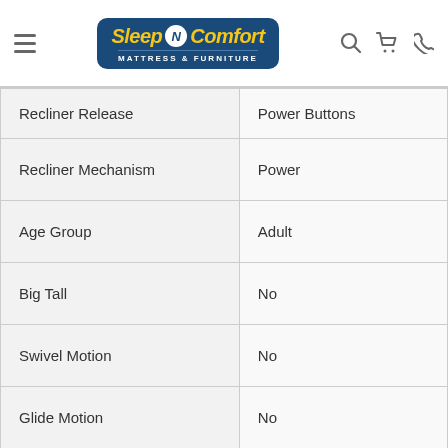[Figure (logo): Sleep N Comfort Mattress & Furniture logo with hamburger menu icon and search, cart, phone icons in header navigation]
| Recliner Release | Power Buttons |
| Recliner Mechanism | Power |
| Age Group | Adult |
| Big Tall | No |
| Swivel Motion | No |
| Glide Motion | No |
| Width (cm) | 71.12 |